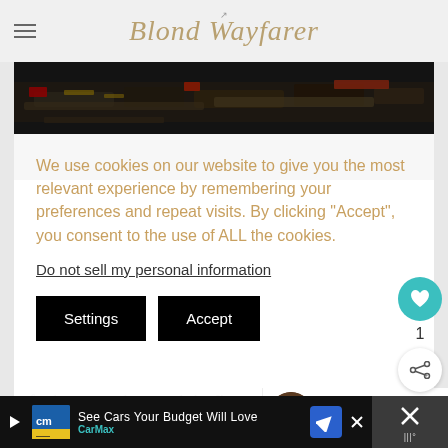Blond Wayfarer
[Figure (photo): Dark photo showing guns/firearms lined up, likely at a gun store or range]
We use cookies on our website to give you the most relevant experience by remembering your preferences and repeat visits. By clicking "Accept", you consent to the use of ALL the cookies.
Do not sell my personal information
Settings  Accept
gun control in the United States. I'd probably be able to fund my next adventure, haha. I'm not going to launch into a discourse about the right to bear arms. Nor am I going to give my opinion on gun control. And
[Figure (infographic): What's Next panel with thumbnail image and text: 9 Best Things to Do in...]
[Figure (infographic): CarMax advertisement bar: See Cars Your Budget Will Love - CarMax]